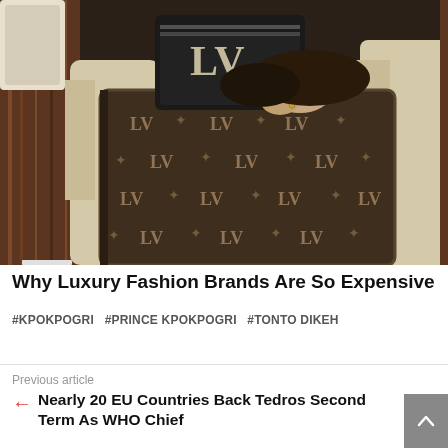[Figure (photo): Person lying on a luxury private jet seat covered with a Louis Vuitton monogram brown blanket, with an LV monogram pillow behind them. Cream leather seats and wood paneling visible.]
Why Luxury Fashion Brands Are So Expensive
#KPOKPOGRI  #PRINCE KPOKPOGRI  #TONTO DIKEH
Previous article
← Nearly 20 EU Countries Back Tedros Second Term As WHO Chief